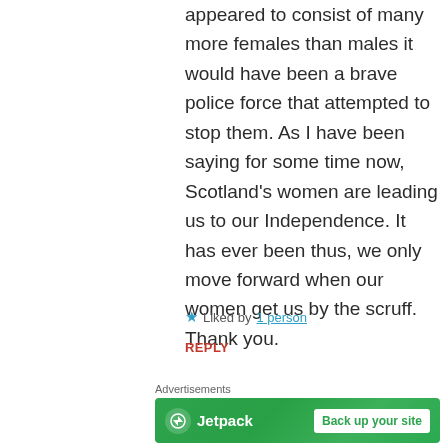appeared to consist of many more females than males it would have been a brave police force that attempted to stop them. As I have been saying for some time now, Scotland’s women are leading us to our Independence. It has ever been thus, we only move forward when our women get us by the scruff. Thank you.
★ Liked by 1 person
REPLY
Advertisements
[Figure (logo): Jetpack advertisement banner with logo and 'Back up your site' button]